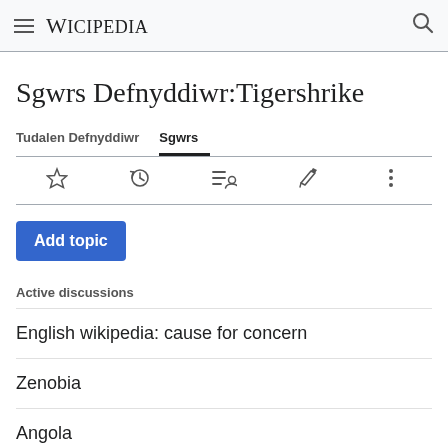WICIPEDIA
Sgwrs Defnyddiwr:Tigershrike
Tudalen Defnyddiwr   Sgwrs
Add topic
Active discussions
English wikipedia: cause for concern
Zenobia
Angola